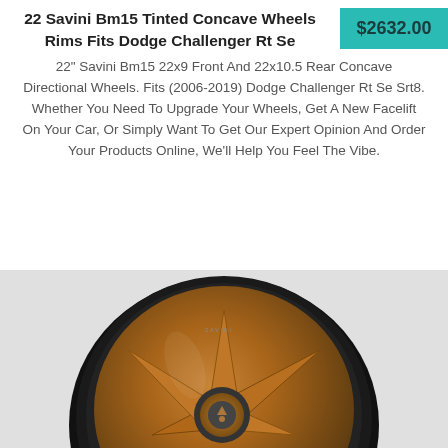22 Savini Bm15 Tinted Concave Wheels Rims Fits Dodge Challenger Rt Se
$2632.00
22" Savini Bm15 22x9 Front And 22x10.5 Rear Concave Directional Wheels. Fits (2006-2019) Dodge Challenger Rt Se Srt8. Whether You Need To Upgrade Your Wheels, Get A New Facelift On Your Car, Or Simply Want To Get Our Expert Opinion And Order Your Products Online, We'll Help You Feel The Vibe.
[Figure (photo): A bronze/gold and black Savini BM15 concave directional wheel rim, photographed at an angle showing the five-spoke design with black outer lip and gold/bronze spokes and center.]